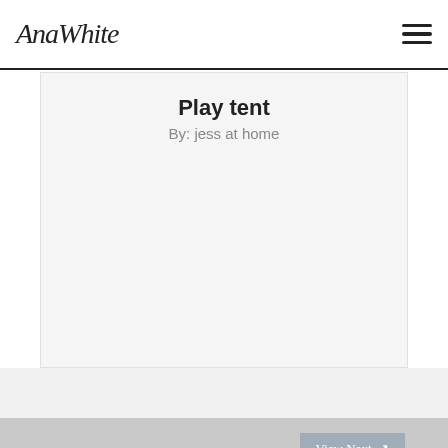AnaWhite
Play tent
By: jess at home
View Next →
See All Brag Posts for this Project →